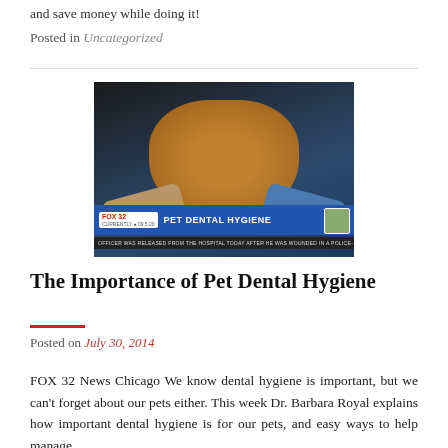and save money while doing it!
Posted in Uncategorized
[Figure (photo): Fox 32 News TV screenshot showing a person holding an orange cat for a pet dental hygiene segment. A ticker bar reads 'FOX 32 PET DENTAL HYGIENE' with a small dog thumbnail. Bottom ticker reads: OFFICER WAS RELEASED FROM THE HOSPITAL TODAY AFTER HE WAS WOUNDED IN A POLICE-]
The Importance of Pet Dental Hygiene
Posted on July 30, 2014
FOX 32 News Chicago We know dental hygiene is important, but we can't forget about our pets either. This week Dr. Barbara Royal explains how important dental hygiene is for our pets, and easy ways to help manage